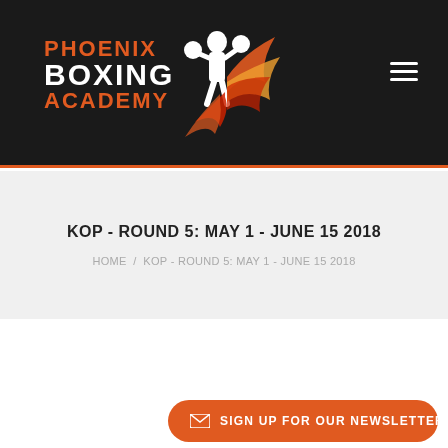Phoenix Boxing Academy
KOP - ROUND 5: MAY 1 - JUNE 15 2018
HOME / KOP - ROUND 5: MAY 1 - JUNE 15 2018
Tuesdays: M
SIGN UP FOR OUR NEWSLETTER